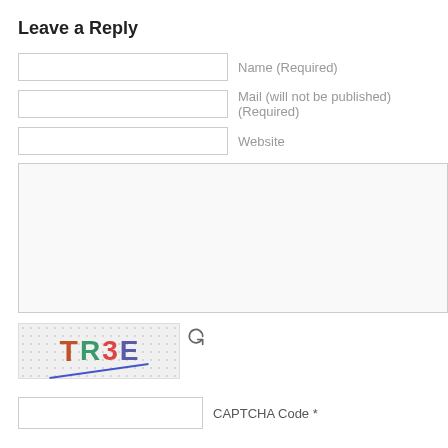Leave a Reply
Name (Required)
Mail (will not be published) (Required)
Website
[Figure (screenshot): Large comment text area input box]
[Figure (screenshot): CAPTCHA image showing letters T R 3 E with dotted background and a refresh icon]
CAPTCHA Code *